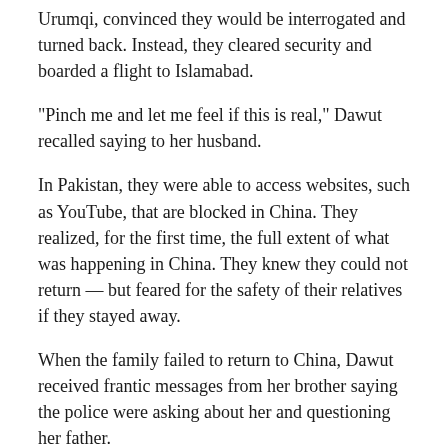Urumqi, convinced they would be interrogated and turned back. Instead, they cleared security and boarded a flight to Islamabad.
“Pinch me and let me feel if this is real,” Dawut recalled saying to her husband.
In Pakistan, they were able to access websites, such as YouTube, that are blocked in China. They realized, for the first time, the full extent of what was happening in China. They knew they could not return — but feared for the safety of their relatives if they stayed away.
When the family failed to return to China, Dawut received frantic messages from her brother saying the police were asking about her and questioning her father.
“Don’t delay; just contact them now,” the brother said in an audio message sent using WeChat, a popular Chinese